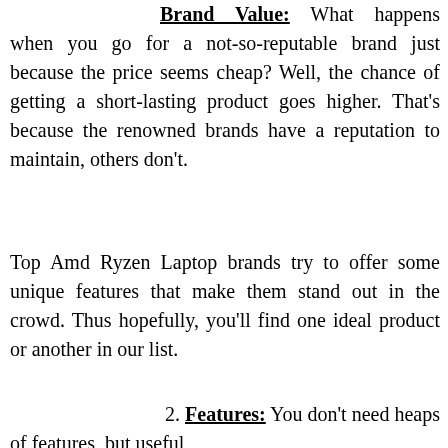1. Brand Value: What happens when you go for a not-so-reputable brand just because the price seems cheap? Well, the chance of getting a short-lasting product goes higher. That's because the renowned brands have a reputation to maintain, others don't.
Top Amd Ryzen Laptop brands try to offer some unique features that make them stand out in the crowd. Thus hopefully, you'll find one ideal product or another in our list.
2. Features: You don't need heaps of features, but useful